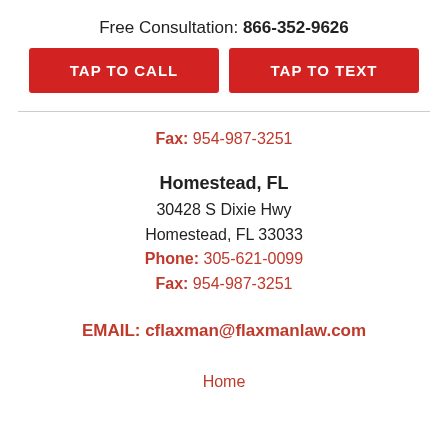Free Consultation: 866-352-9626
TAP TO CALL
TAP TO TEXT
Fax: 954-987-3251
Homestead, FL
30428 S Dixie Hwy
Homestead, FL 33033
Phone: 305-621-0099
Fax: 954-987-3251
EMAIL: cflaxman@flaxmanlaw.com
Home